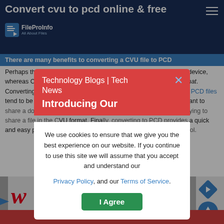Convert cvu to pcd online & free
[Figure (logo): FileProInfo logo with blue icon and tagline 'All About Files']
There are many benefits to converting a CVU file to PCD
Perhaps the most obvious benefit is that PCD can be read on any device, whereas CVU files are limited to devices that support the CVU format. Converting a CVU to PCD also makes the text easier to search, as PCD files tend to be more indexable by search engines. Additionally, if you want to share a document, converting it to PDF can be much easier than trying to share a file in the CVU format. Finally, converting to PCD provides a quick and easy process that can be done for free using this free online tool.
[Figure (screenshot): Cookie consent modal overlay with red notification banner titled 'Technology Blogs | Tech News' with X close button, subheading 'Introducing Our', and white dialog box with cookie policy text, Privacy Policy and Terms of Service links, and green 'I Agree' button]
[Figure (other): Advertisement area with Walgreens logo and navigation elements including blue diamond arrow icon and blue circular scroll-to-top button]
80+ Free SEO Tools